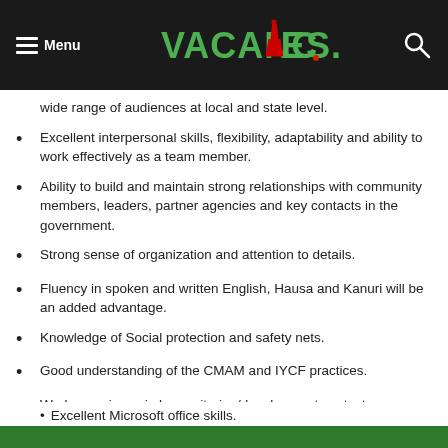Menu | VACANCIES.NG
wide range of audiences at local and state level.
Excellent interpersonal skills, flexibility, adaptability and ability to work effectively as a team member.
Ability to build and maintain strong relationships with community members, leaders, partner agencies and key contacts in the government.
Strong sense of organization and attention to details.
Fluency in spoken and written English, Hausa and Kanuri will be an added advantage.
Knowledge of Social protection and safety nets.
Good understanding of the CMAM and IYCF practices.
Work experience in humanitarian/development context particularly with an International NGO.
Excellent Microsoft office skills.